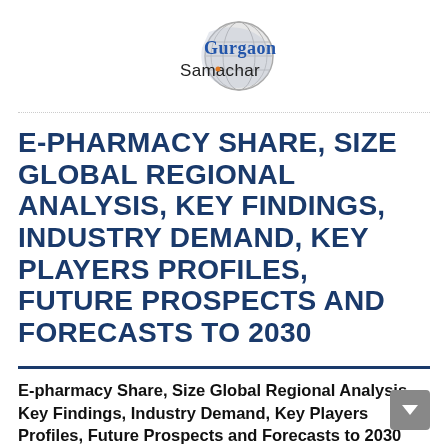[Figure (logo): Gurgaon Samachar logo — globe graphic with 'Gurgaon' in blue serif and 'Samachar' in dark sans-serif text]
E-PHARMACY SHARE, SIZE GLOBAL REGIONAL ANALYSIS, KEY FINDINGS, INDUSTRY DEMAND, KEY PLAYERS PROFILES, FUTURE PROSPECTS AND FORECASTS TO 2030
E-pharmacy Share, Size Global Regional Analysis, Key Findings, Industry Demand, Key Players Profiles, Future Prospects and Forecasts to 2030